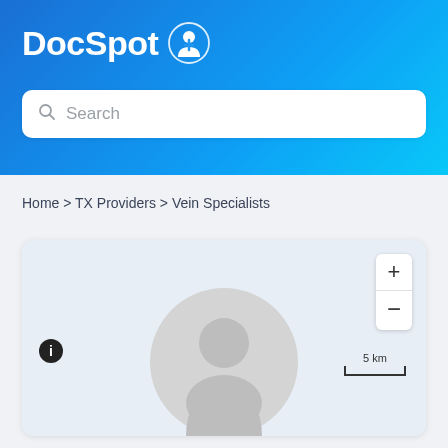DocSpot
Search
Home > TX Providers > Vein Specialists
[Figure (map): Map view with zoom controls (+/-), an info icon, a 5 km scale bar, and a generic person silhouette avatar placeholder in the center-bottom area.]